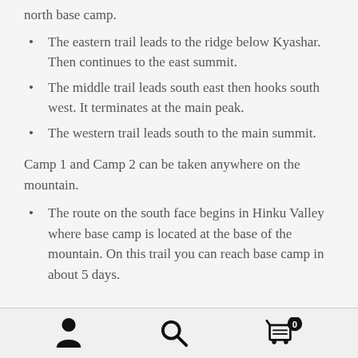north base camp.
The eastern trail leads to the ridge below Kyashar. Then continues to the east summit.
The middle trail leads south east then hooks south west. It terminates at the main peak.
The western trail leads south to the main summit.
Camp 1 and Camp 2 can be taken anywhere on the mountain.
The route on the south face begins in Hinku Valley where base camp is located at the base of the mountain. On this trail you can reach base camp in about 5 days.
Navigation icons: user, search, cart(0)